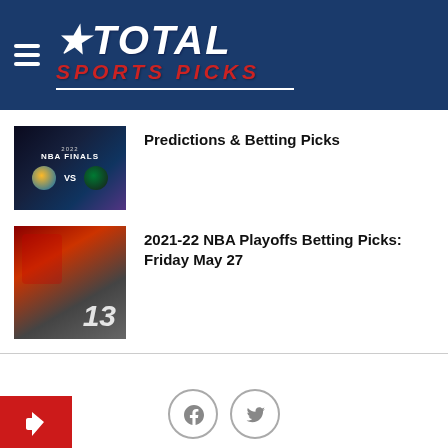[Figure (logo): Total Sports Picks logo with star, white bold italic TOTAL text and red italic SPORTS PICKS text on navy blue background with hamburger menu icon]
[Figure (photo): NBA Finals 2022 promotional image showing Warriors vs Celtics logos]
Predictions & Betting Picks
[Figure (photo): Basketball player dunking wearing jersey number 13, red and white uniform]
2021-22 NBA Playoffs Betting Picks: Friday May 27
[Figure (illustration): Facebook and Twitter social share buttons (circular outlines), and a red share/reply button at bottom left]